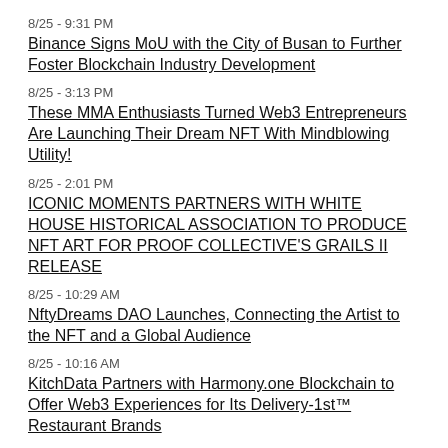8/25 - 9:31 PM
Binance Signs MoU with the City of Busan to Further Foster Blockchain Industry Development
8/25 - 3:13 PM
These MMA Enthusiasts Turned Web3 Entrepreneurs Are Launching Their Dream NFT With Mindblowing Utility!
8/25 - 2:01 PM
ICONIC MOMENTS PARTNERS WITH WHITE HOUSE HISTORICAL ASSOCIATION TO PRODUCE NFT ART FOR PROOF COLLECTIVE'S GRAILS II RELEASE
8/25 - 10:29 AM
NftyDreams DAO Launches, Connecting the Artist to the NFT and a Global Audience
8/25 - 10:16 AM
KitchData Partners with Harmony.one Blockchain to Offer Web3 Experiences for Its Delivery-1st™ Restaurant Brands
8/25 - 9:17 AM